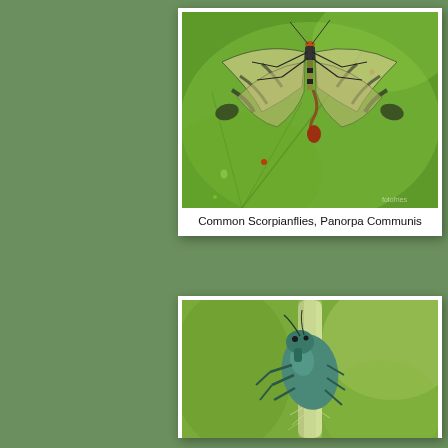[Figure (photo): Close-up macro photograph of a Common Scorpianfly (Panorpa Communis) resting on a green leaf with water droplets. The insect has banded wings spread out and a reddish scorpion-like tail.]
Common Scorpianflies, Panorpa Communis
[Figure (photo): Close-up macro photograph of a blue-green weevil or beetle clinging to a pale green plant stem, with blurred green background.]